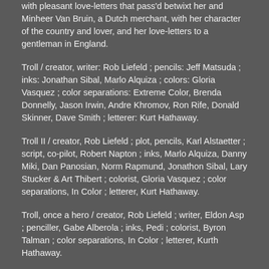with pleasant love-letters that pass'd betwixt her and Minheer Van Bruin, a Dutch merchant, with her character of the country and lover, and her love-letters to a gentleman in England.
Troll / creator, writer: Rob Liefeld ; pencils: Jeff Matsuda ; inks: Jonathan Sibal, Marlo Alquiza ; colors: Gloria Vasquez ; color separations: Extreme Color, Brenda Donnelly, Jason Irwin, Andre Khromov, Ron Rife, Donald Skinner, Dave Smith ; letterer: Kurt Hathaway.
Troll II / creator, Rob Liefeld ; plot, pencils, Karl Alstaetter ; script, co-pilot, Robert Napton ; inks, Marlo Alquiza, Danny Miki, Dan Panosian, Norm Rapmund, Jonathon Sibal, Lary Stucker & Art Thibert ; colorist, Gloria Vasquez ; color separations, In Color ; letterer, Kurt Hathaway.
Troll, once a hero / creator, Rob Liefeld ; writer, Eldon Asp ; penciller, Gabe Alberola ; inks, Pedi ; colorist, Byron Talman ; color separations, In Color ; letterer, Kurth Hathaway.
NEW RUBENSTEIN LIBRARY MATERIALS ADDED TO THE INTERNET ARCHIVE